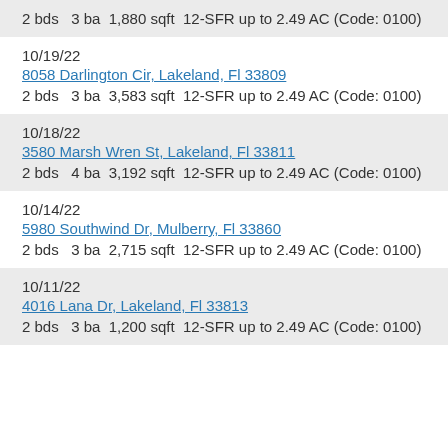2 bds   3 ba  1,880 sqft  12-SFR up to 2.49 AC (Code: 0100)
10/19/22
8058 Darlington Cir, Lakeland, Fl 33809
2 bds   3 ba  3,583 sqft  12-SFR up to 2.49 AC (Code: 0100)
10/18/22
3580 Marsh Wren St, Lakeland, Fl 33811
2 bds   4 ba  3,192 sqft  12-SFR up to 2.49 AC (Code: 0100)
10/14/22
5980 Southwind Dr, Mulberry, Fl 33860
2 bds   3 ba  2,715 sqft  12-SFR up to 2.49 AC (Code: 0100)
10/11/22
4016 Lana Dr, Lakeland, Fl 33813
2 bds   3 ba  1,200 sqft  12-SFR up to 2.49 AC (Code: 0100)